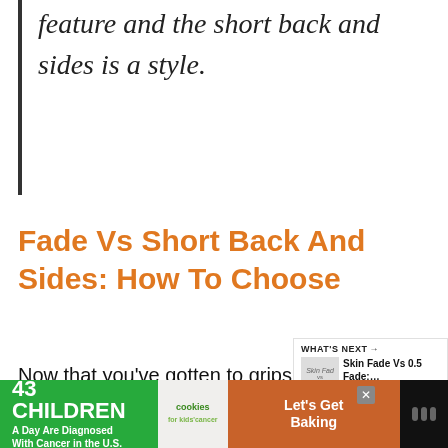feature and the short back and sides is a style.
Fade Vs Short Back And Sides: How To Choose
Now that you’ve gotten to grips with how these two are different, let’s discuss how to choose between them.
[Figure (screenshot): What's Next panel showing 'Skin Fade Vs 0.5 Fade:....' with thumbnail image]
[Figure (photo): Partial view of hands holding a heart-shaped object, green background]
43 CHILDREN A Day Are Diagnosed With Cancer in the U.S.
[Figure (logo): cookies for kids' cancer logo]
Let's Get Baking